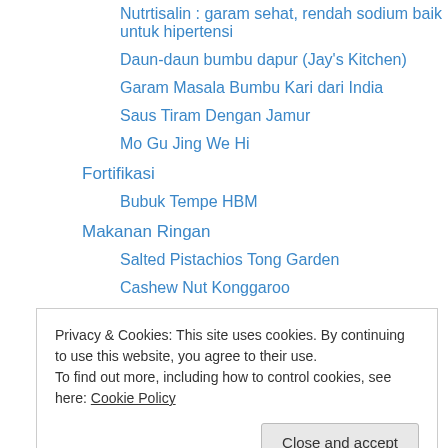Nutrtisalin : garam sehat, rendah sodium baik untuk hipertensi
Daun-daun bumbu dapur (Jay's Kitchen)
Garam Masala Bumbu Kari dari India
Saus Tiram Dengan Jamur
Mo Gu Jing We Hi
Fortifikasi
Bubuk Tempe HBM
Makanan Ringan
Salted Pistachios Tong Garden
Cashew Nut Konggaroo
Mocha Almonds Kangaroo
Salted Cashews Mr Best
Seleco Seaweed Rolling Bite
Privacy & Cookies: This site uses cookies. By continuing to use this website, you agree to their use.
To find out more, including how to control cookies, see here: Cookie Policy
Maple Grazed Cashews Kangaroo